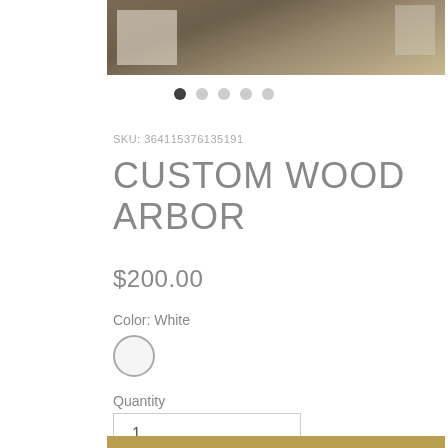[Figure (photo): Partial product photo showing a wooden arbor ceiling with chandelier, white chairs visible at edges]
● ○ ○ ○ ○ (pagination dots, first active)
SKU: 364115376135191
CUSTOM WOOD ARBOR
$200.00
Color: White
[Figure (other): White color swatch circle with grey border]
Quantity
1